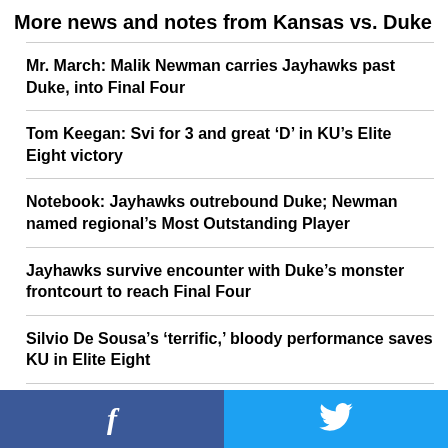More news and notes from Kansas vs. Duke
Mr. March: Malik Newman carries Jayhawks past Duke, into Final Four
Tom Keegan: Svi for 3 and great ‘D’ in KU’s Elite Eight victory
Notebook: Jayhawks outrebound Duke; Newman named regional’s Most Outstanding Player
Jayhawks survive encounter with Duke’s monster frontcourt to reach Final Four
Silvio De Sousa’s ‘terrific,’ bloody performance saves KU in Elite Eight
Jayhawk fans release Elite Eight tension with party on Massachusetts Street